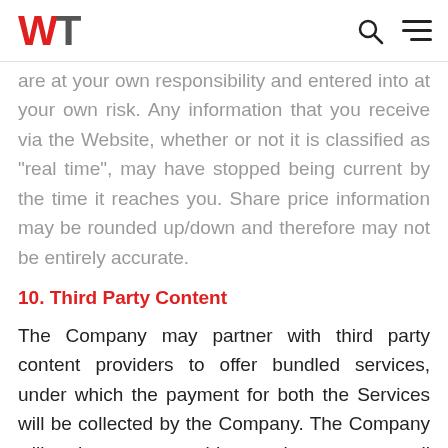WT [logo] [search icon] [menu icon]
are at your own responsibility and entered into at your own risk. Any information that you receive via the Website, whether or not it is classified as “real time”, may have stopped being current by the time it reaches you. Share price information may be rounded up/down and therefore may not be entirely accurate.
10. Third Party Content
The Company may partner with third party content providers to offer bundled services, under which the payment for both the Services will be collected by the Company. The Company will endeavour to provide seamless access to all such third parties with a single one point access. There could be a gap in this seamless access